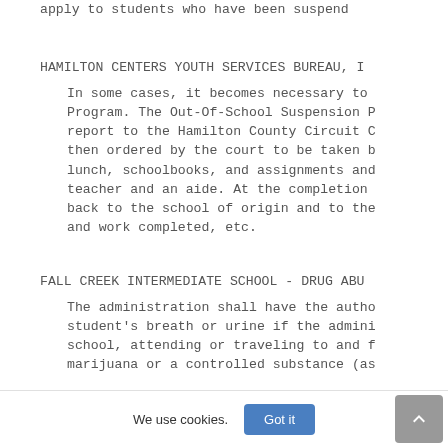apply to students who have been suspend
HAMILTON CENTERS YOUTH SERVICES BUREAU, I
In some cases, it becomes necessary to Program. The Out-Of-School Suspension P report to the Hamilton County Circuit C then ordered by the court to be taken b lunch, schoolbooks, and assignments and teacher and an aide. At the completion back to the school of origin and to the and work completed, etc.
FALL CREEK INTERMEDIATE SCHOOL - DRUG ABU
The administration shall have the autho student's breath or urine if the admini school, attending or traveling to and f marijuana or a controlled substance (as